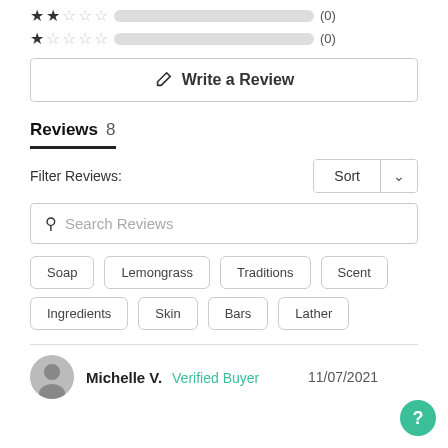[Figure (other): Two star rating rows: 2-star row with empty progress bar showing (0), and 1-star row with empty progress bar showing (0)]
✎ Write a Review
Reviews 8
Filter Reviews:
Sort
Search Reviews
Soap
Lemongrass
Traditions
Scent
Ingredients
Skin
Bars
Lather
Michelle V.  Verified Buyer  11/07/2021